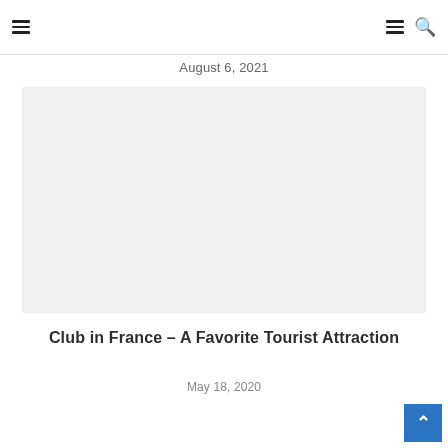≡  ≡ 🔍
August 6, 2021
[Figure (photo): Large light gray image placeholder rectangle]
Club in France – A Favorite Tourist Attraction
May 18, 2020